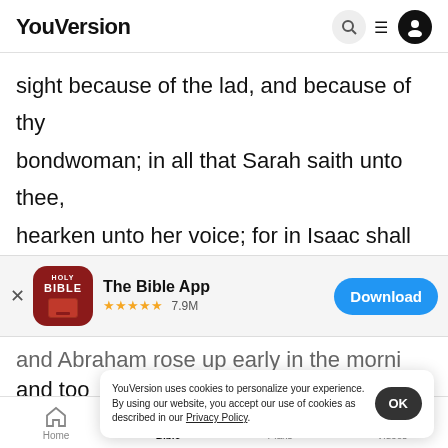YouVersion
sight because of the lad, and because of thy bondwoman; in all that Sarah saith unto thee, hearken unto her voice; for in Isaac shall thy seed be called. 13 And also of the son of the
[Figure (screenshot): App install banner for 'The Bible App' with Holy Bible icon (red background), star rating ★★★★★ 7.9M, and a blue Download button]
and Abraham rose up early in the morni
and too
unto Hagar, putting it on her shoulder, and the
YouVersion uses cookies to personalize your experience. By using our website, you accept our use of cookies as described in our Privacy Policy.
Home   Bible   Plans   Videos